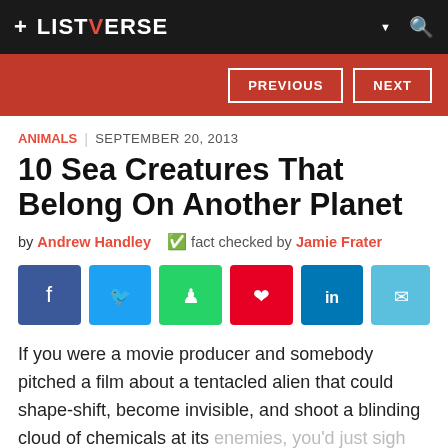+ LISTVERSE
PREVIOUS | NEXT
ANIMALS | SEPTEMBER 20, 2013
10 Sea Creatures That Belong On Another Planet
by Andrew Handley   fact checked by Jamie Frater
[Figure (other): Social share buttons: Facebook, Twitter, WhatsApp, Pinterest, LinkedIn, Email]
If you were a movie producer and somebody pitched a film about a tentacled alien that could shape-shift, become invisible, and shoot a blinding cloud of chemicals at its enemies, you'd just sigh and say "No, that's an octopus." We take it for granted that there are a few million